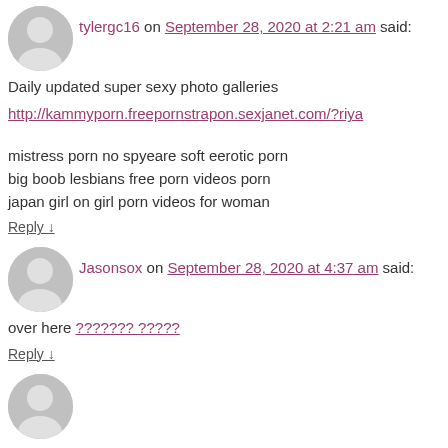[Figure (illustration): Gray avatar placeholder for user tylergc16]
tylergc16 on September 28, 2020 at 2:21 am said:
Daily updated super sexy photo galleries
http://kammyporn.freepornstrapon.sexjanet.com/?riya
mistress porn no spyeare soft eerotic porn
big boob lesbians free porn videos porn
japan girl on girl porn videos for woman
Reply ↓
[Figure (illustration): Gray avatar placeholder for user Jasonsox]
Jasonsox on September 28, 2020 at 4:37 am said:
over here ??????? ?????
Reply ↓
[Figure (illustration): Gray avatar placeholder (partial) at bottom]